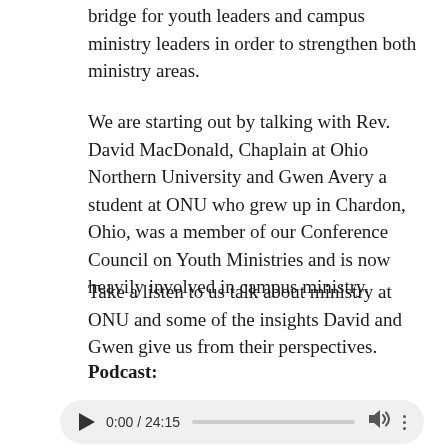bridge for youth leaders and campus ministry leaders in order to strengthen both ministry areas.
We are starting out by talking with Rev. David MacDonald, Chaplain at Ohio Northern University and Gwen Avery a student at ONU who grew up in Chardon, Ohio, was a member of our Conference Council on Youth Ministries and is now heavily involved in campus ministry.
Take a listen to us talk about ministry at ONU and some of the insights David and Gwen give us from their perspectives.
Podcast:
[Figure (other): Audio player widget showing play button, timestamp 0:00 / 24:15, progress bar, volume icon, and more options icon]